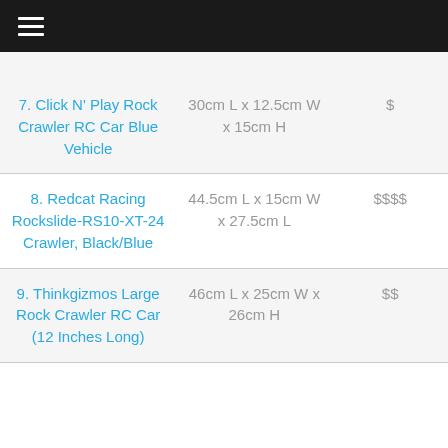Navigation menu
| Product | Dimensions | Price |
| --- | --- | --- |
| 7. Click N' Play Rock Crawler RC Car Blue Vehicle | 30cm L x 12.5cm W x 15cm H | $ |
| 8. Redcat Racing Rockslide-RS10-XT-24 Crawler, Black/Blue | 44.5cm L x 15cm W x 27.5cm L | $$$$ |
| 9. Thinkgizmos Large Rock Crawler RC Car (12 Inches Long) | 46cm L x 25cm W x 26cm H | $$ |